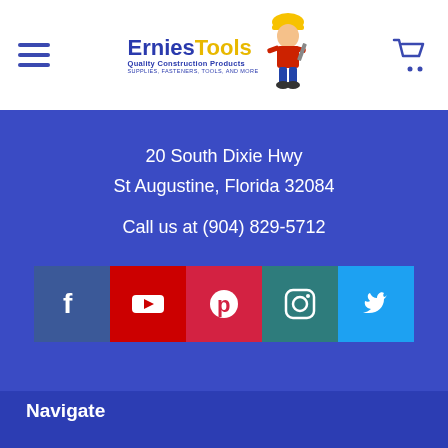[Figure (logo): Ernies Tools logo with cartoon construction worker, text: Ernies Tools Quality Construction Products, Supplies, Fasteners, Tools, and More]
20 South Dixie Hwy
St Augustine, Florida 32084
Call us at (904) 829-5712
[Figure (infographic): Social media icons: Facebook (dark blue), YouTube (red), Pinterest (red), Instagram (teal), Twitter (light blue)]
Navigate
Brands
Corona Virus Information
Blog